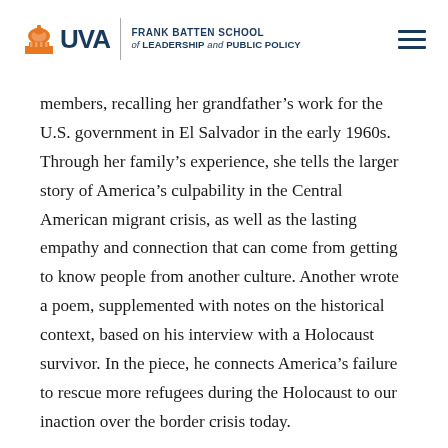UVA Frank Batten School of Leadership and Public Policy
members, recalling her grandfather's work for the U.S. government in El Salvador in the early 1960s. Through her family's experience, she tells the larger story of America's culpability in the Central American migrant crisis, as well as the lasting empathy and connection that can come from getting to know people from another culture. Another wrote a poem, supplemented with notes on the historical context, based on his interview with a Holocaust survivor. In the piece, he connects America's failure to rescue more refugees during the Holocaust to our inaction over the border crisis today.